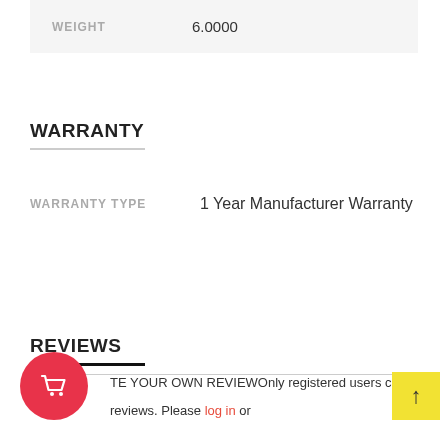| WEIGHT |  |
| --- | --- |
| WEIGHT | 6.0000 |
WARRANTY
| WARRANTY TYPE |  |
| --- | --- |
| WARRANTY TYPE | 1 Year Manufacturer Warranty |
REVIEWS
TE YOUR OWN REVIEWOnly registered users can write reviews. Please log in or